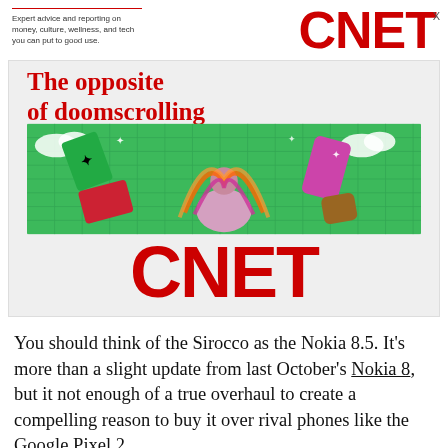Expert advice and reporting on money, culture, wellness, and tech you can put to good use.
[Figure (logo): CNET logo in red bold text]
[Figure (infographic): CNET advertisement banner: 'The opposite of doomscrolling' with colorful illustration of a meditating figure surrounded by floating devices on a green grid background, with large red CNET logo below]
You should think of the Sirocco as the Nokia 8.5. It's more than a slight update from last October's Nokia 8, but it not enough of a true overhaul to create a compelling reason to buy it over rival phones like the Google Pixel 2